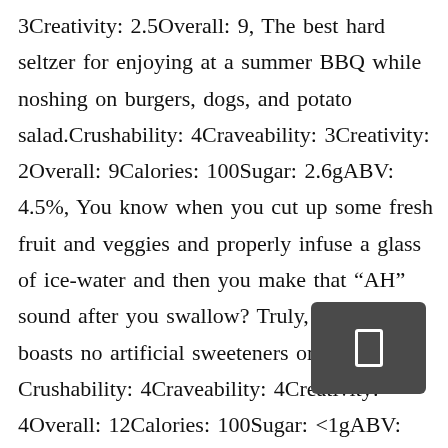3Creativity: 2.5Overall: 9, The best hard seltzer for enjoying at a summer BBQ while noshing on burgers, dogs, and potato salad.Crushability: 4Craveability: 3Creativity: 2Overall: 9Calories: 100Sugar: 2.6gABV: 4.5%, You know when you cut up some fresh fruit and veggies and properly infuse a glass of ice-water and then you make that “AH” sound after you swallow? Truly, for instance, boasts no artificial sweeteners or flavors. Crushability: 4Craveability: 4Creativity: 4Overall: 12Calories: 100Sugar: <1gABV: 5%, tworobbers.comBUY IT HERE We’ve already discussed ginger’s ability to bring down the sweetness without neutralizing the true flavor of the fruit. The explosion of brands demonstrates hard
[Figure (other): Small dark grey rounded rectangle overlay icon with a white rectangular outline shape centered within it, resembling a mobile/pause UI element]